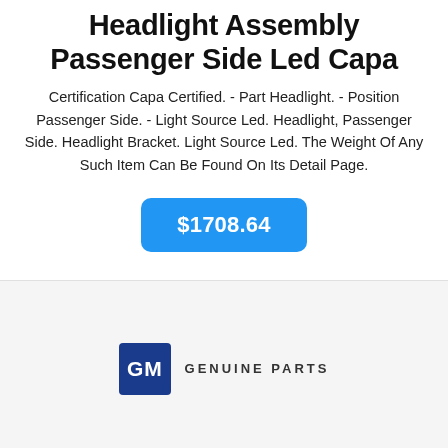For Chevy Silverado 1500 2016 2019 Headlight Assembly Passenger Side Led Capa
Certification Capa Certified. - Part Headlight. - Position Passenger Side. - Light Source Led. Headlight, Passenger Side. Headlight Bracket. Light Source Led. The Weight Of Any Such Item Can Be Found On Its Detail Page.
$1708.64
[Figure (logo): GM Genuine Parts logo — blue square with white GM letters, followed by text GENUINE PARTS in dark gray uppercase spaced letters]